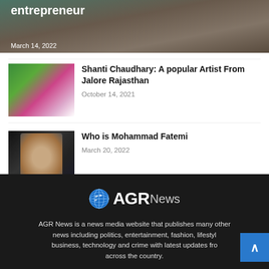[Figure (photo): Partial top strip showing a cropped image with bold white title text 'entrepreneur' and date 'March 14, 2022']
[Figure (photo): Thumbnail photo of Shanti Chaudhary, colorful outdoor scene]
Shanti Chaudhary: A popular Artist From Jalore Rajasthan
October 14, 2021
[Figure (photo): Thumbnail photo of Mohammad Fatemi, dark background portrait with glasses]
Who is Mohammad Fatemi
March 20, 2022
[Figure (logo): AGR News logo — globe icon followed by 'AGR' in bold white and 'News' in lighter weight]
AGR News is a news media website that publishes many other news including politics, entertainment, fashion, lifestyle, business, technology and crime with latest updates from across the country.
AGRNews